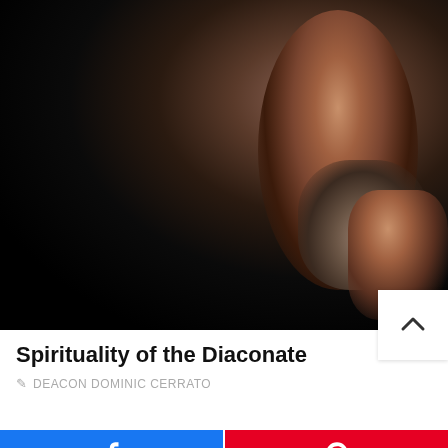[Figure (photo): A man with a beard in dark clothing, eyes closed, hand raised near chin in a contemplative or prayerful pose, photographed against a dark background.]
Spirituality of the Diaconate
DEACON DOMINIC CERRATO
[Figure (infographic): Social share buttons: Facebook (blue) and Pinterest (red)]